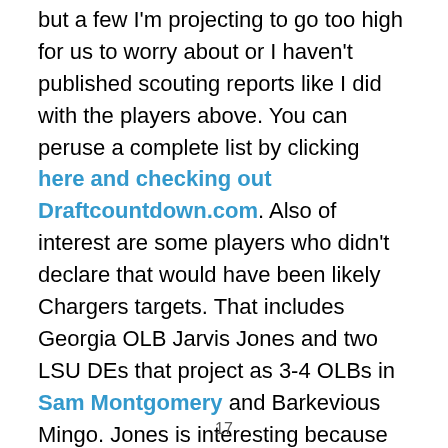but a few I'm projecting to go too high for us to worry about or I haven't published scouting reports like I did with the players above. You can peruse a complete list by clicking here and checking out Draftcountdown.com. Also of interest are some players who didn't declare that would have been likely Chargers targets. That includes Georgia OLB Jarvis Jones and two LSU DEs that project as 3-4 OLBs in Sam Montgomery and Barkevious Mingo. Jones is interesting because he has experience as a 3-4 OLB and Montgomery and Mingo both had a lot of upside despite only a couple years of college ball.
17